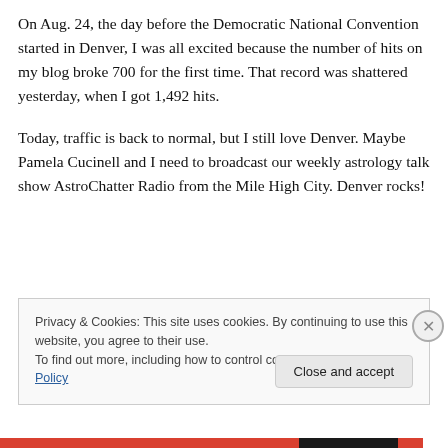On Aug. 24, the day before the Democratic National Convention started in Denver, I was all excited because the number of hits on my blog broke 700 for the first time. That record was shattered yesterday, when I got 1,492 hits.
Today, traffic is back to normal, but I still love Denver. Maybe Pamela Cucinell and I need to broadcast our weekly astrology talk show AstroChatter Radio from the Mile High City. Denver rocks!
Privacy & Cookies: This site uses cookies. By continuing to use this website, you agree to their use.
To find out more, including how to control cookies, see here: Cookie Policy